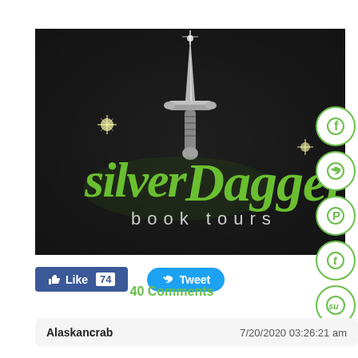[Figure (logo): Silver Dagger Book Tours logo on dark leather background with an ornate silver dagger and green script lettering]
[Figure (infographic): Social media share buttons column: Facebook (f), Twitter (bird), Pinterest (P), Tumblr (t), StumbleUpon (su) — green circle outlines]
[Figure (screenshot): Facebook Like button showing 74 likes (blue) and Twitter Tweet button (blue rounded)]
40 Comments
Alaskancrab   7/20/2020 03:26:21 am